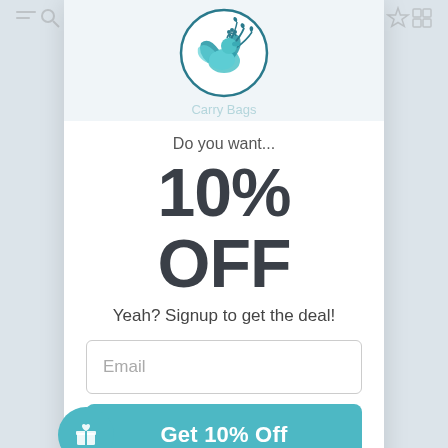[Figure (logo): Circular logo with a teal peacock/bird design inside a circle, representing a paper carry bags brand]
Do you want...
10% OFF
Yeah? Signup to get the deal!
Email
Get 10% Off
No thanks...